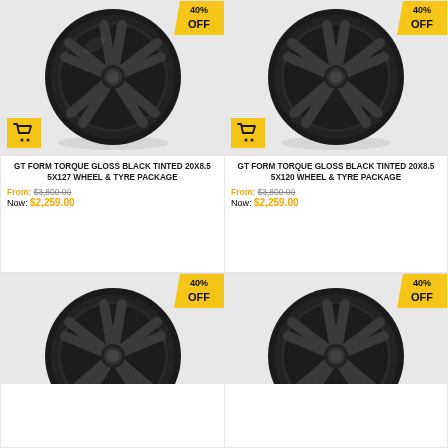[Figure (photo): GT Form Torque Gloss Black Tinted wheel, 20x8.5 5x127, with 40% OFF badge and cart icon, top-left product]
GT FORM TORQUE GLOSS BLACK TINTED 20X8.5 5X127 WHEEL & TYRE PACKAGE
From: $3,800.00 Now: $2,259.00
[Figure (photo): GT Form Torque Gloss Black Tinted wheel, 20x8.5 5x120, with 40% OFF badge and cart icon, top-right product]
GT FORM TORQUE GLOSS BLACK TINTED 20X8.5 5X120 WHEEL & TYRE PACKAGE
From: $3,800.00 Now: $2,259.00
[Figure (photo): GT Form wheel, bottom-left, partially visible, with 40% OFF badge]
[Figure (photo): GT Form wheel, bottom-right, partially visible, with 40% OFF badge]